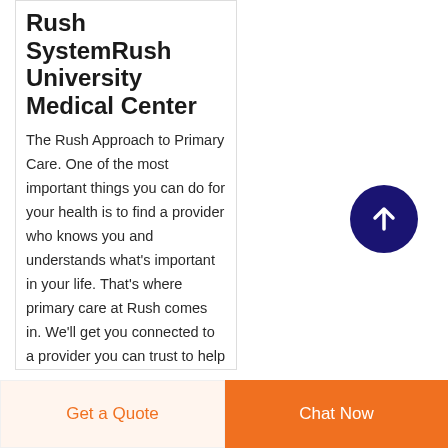Rush SystemRush University Medical Center
The Rush Approach to Primary Care. One of the most important things you can do for your health is to find a provider who knows you and understands what's important in your life. That's where primary care at Rush comes in. We'll get you connected to a provider you can trust to help you meet whatever health goals you set, manage chronic
[Figure (other): Dark blue circular scroll-to-top button with white upward arrow icon]
Get a Quote
Chat Now